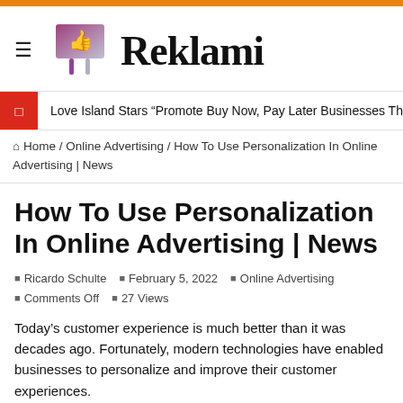[Figure (logo): Reklami website logo with thumbs-up billboard icon and serif 'Reklami' text]
Love Island Stars “Promote Buy Now, Pay Later Businesses That Lure Young
⌂ Home / Online Advertising / How To Use Personalization In Online Advertising | News
How To Use Personalization In Online Advertising | News
Ricardo Schulte   February 5, 2022   Online Advertising
Comments Off   27 Views
Today’s customer experience is much better than it was decades ago. Fortunately, modern technologies have enabled businesses to personalize and improve their customer experiences.
Personalization is a marketing trend that involves creating marketing